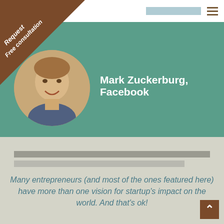[Figure (photo): Brown diagonal banner in top-left corner with italic text 'Request Free consultation']
[Figure (photo): Circular profile photo of a smiling young man (Mark Zuckerberg) on a green hero banner]
Mark Zuckerburg, Facebook
Many entrepreneurs (and most of the ones featured here) have more than one vision for startup's impact on the world. And that's ok!